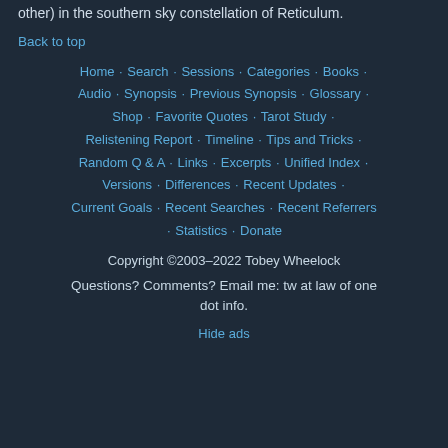other) in the southern sky constellation of Reticulum.
Back to top
Home · Search · Sessions · Categories · Books · Audio · Synopsis · Previous Synopsis · Glossary · Shop · Favorite Quotes · Tarot Study · Relistening Report · Timeline · Tips and Tricks · Random Q & A · Links · Excerpts · Unified Index · Versions · Differences · Recent Updates · Current Goals · Recent Searches · Recent Referrers · Statistics · Donate
Copyright ©2003–2022 Tobey Wheelock
Questions? Comments? Email me: tw at law of one dot info.
Hide ads